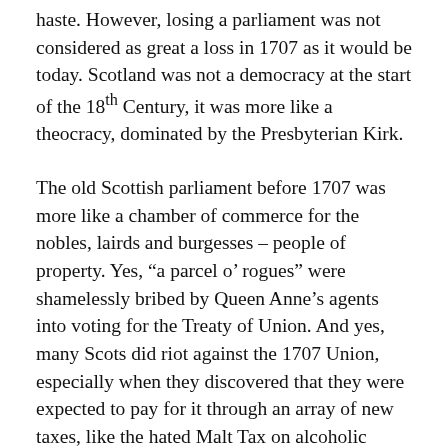haste. However, losing a parliament was not considered as great a loss in 1707 as it would be today. Scotland was not a democracy at the start of the 18th Century, it was more like a theocracy, dominated by the Presbyterian Kirk.
The old Scottish parliament before 1707 was more like a chamber of commerce for the nobles, lairds and burgesses – people of property. Yes, “a parcel o’ rogues” were shamelessly bribed by Queen Anne’s agents into voting for the Treaty of Union. And yes, many Scots did riot against the 1707 Union, especially when they discovered that they were expected to pay for it through an array of new taxes, like the hated Malt Tax on alcoholic beverages. But, crucially, the Presbyterian Kirk accepted the deal because the Acts of Union left it in sole charge of its own religious turf, and for most Scots this was more important than the location of a parliament in